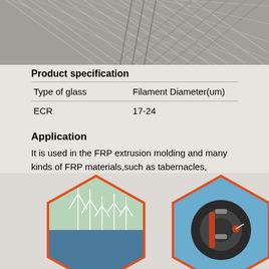[Figure (photo): Close-up photo of glass fiber filaments/strands in grayscale, showing bundled fibers]
Product specification
| Type of glass | Filament Diameter(um) |
| --- | --- |
| ECR | 17-24 |
Application
It is used in the FRP extrusion molding and many kinds of FRP materials,such as tabernacles, grating,poles,FRP rebar ,cable slot and wind turbine blade.
[Figure (photo): Two hexagonal images side by side: left shows wind turbines in a green landscape, right shows a fishing rod reel with blue water background]